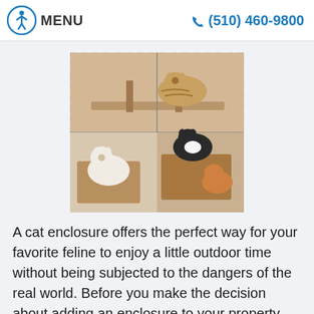MENU  (510) 460-9800
[Figure (photo): Collage of cats in an outdoor cat enclosure: a tabby on top, a black and white cat in the middle, a white cat on the left, and an orange cat on the right inside wooden enclosure structures.]
A cat enclosure offers the perfect way for your favorite feline to enjoy a little outdoor time without being subjected to the dangers of the real world. Before you make the decision about adding an enclosure to your property, consider these facts. Free Access to the Outdoors Can Decrease a Cat's Lifespan Free
Read more
DIABETES IN CATS: PREVENTION AND TREATMENT